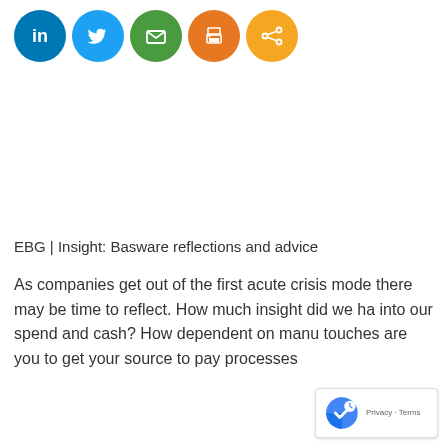[Figure (other): Row of five social media sharing icon circles: LinkedIn (blue), Twitter (light blue), Email (green), Print (orange), Share (amber/orange)]
EBG | Insight: Basware reflections and advice
As companies get out of the first acute crisis mode there may be time to reflect. How much insight did we ha into our spend and cash? How dependent on manu touches are you to get your source to pay processes